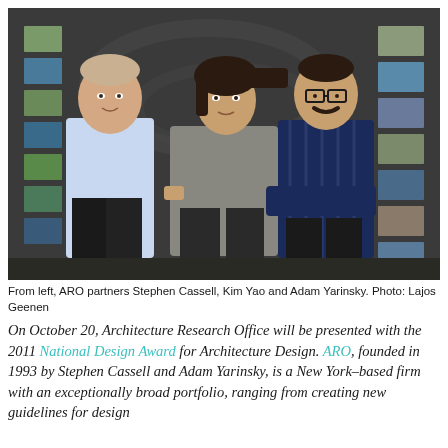[Figure (photo): Three people standing in front of a dark chalkboard wall with small photos/artworks pinned to it. From left: a man in a light blue shirt, a woman in a grey top, and a man in a navy blue striped shirt with glasses and mustache.]
From left, ARO partners Stephen Cassell, Kim Yao and Adam Yarinsky. Photo: Lajos Geenen
On October 20, Architecture Research Office will be presented with the 2011 National Design Award for Architecture Design. ARO, founded in 1993 by Stephen Cassell and Adam Yarinsky, is a New York–based firm with an exceptionally broad portfolio, ranging from creating new guidelines for design